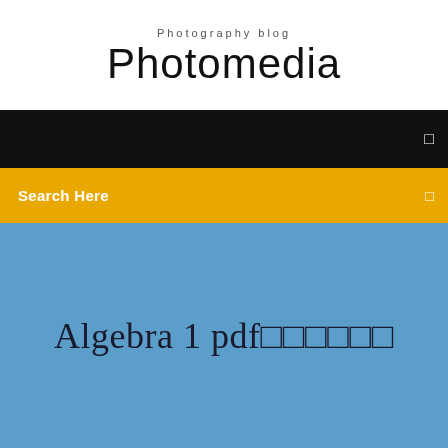Photography blog
Photomedia
Search Here
Algebra 1 pdf□□□□□□